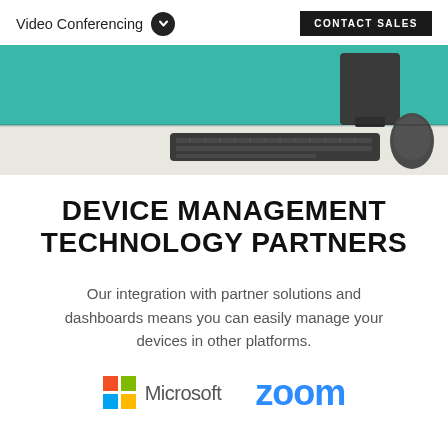Video Conferencing | CONTACT SALES
[Figure (photo): Hero image of a desk setup with keyboard, mouse, monitor, and teal/green felt board in the background]
DEVICE MANAGEMENT TECHNOLOGY PARTNERS
Our integration with partner solutions and dashboards means you can easily manage your devices in other platforms.
[Figure (logo): Microsoft logo (four-color grid) with 'Microsoft' wordmark]
[Figure (logo): Zoom logo in blue]